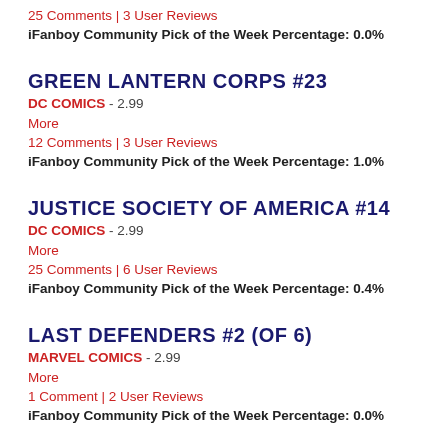25 Comments | 3 User Reviews
iFanboy Community Pick of the Week Percentage: 0.0%
GREEN LANTERN CORPS #23
DC COMICS - 2.99
More
12 Comments | 3 User Reviews
iFanboy Community Pick of the Week Percentage: 1.0%
JUSTICE SOCIETY OF AMERICA #14
DC COMICS - 2.99
More
25 Comments | 6 User Reviews
iFanboy Community Pick of the Week Percentage: 0.4%
LAST DEFENDERS #2 (OF 6)
MARVEL COMICS - 2.99
More
1 Comment | 2 User Reviews
iFanboy Community Pick of the Week Percentage: 0.0%